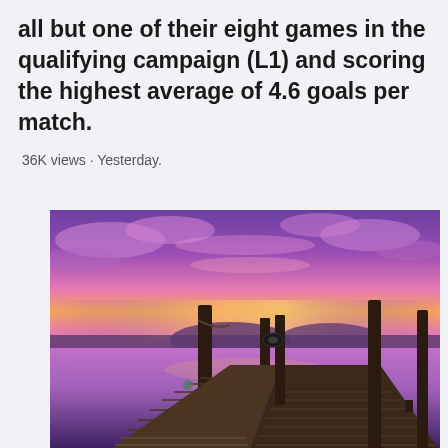all but one of their eight games in the qualifying campaign (L1) and scoring the highest average of 4.6 goals per match.
36K views · Yesterday.
[Figure (photo): A scenic sunset photo of a wooden pier/dock extending over a calm lake or bay, with a vivid pink and purple sky reflected in the water.]